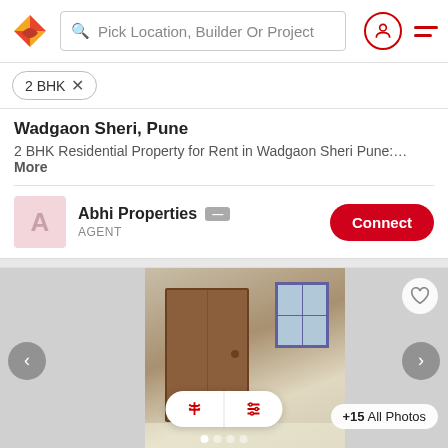Pick Location, Builder Or Project
2 BHK ×
Wadgaon Sheri, Pune
2 BHK Residential Property for Rent in Wadgaon Sheri Pune:… More
Abhi Properties — AGENT — Connect
[Figure (photo): Interior photo of a room showing a wooden wardrobe/door and a window, with navigation arrows and sort/filter controls overlay. +15 All Photos badge shown.]
2 BHK Apartment 1,250 sq ft  ₹30,000